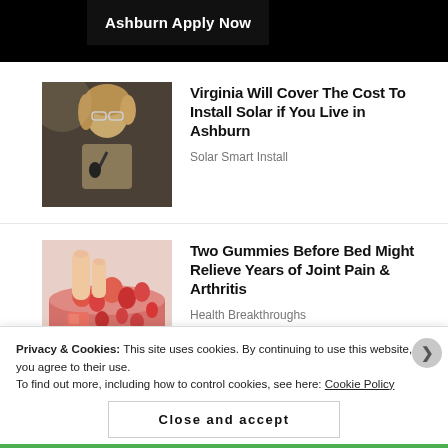Ashburn Apply Now
[Figure (photo): Woman with glasses speaking at a microphone podium]
Virginia Will Cover The Cost To Install Solar if You Live in Ashburn
Solar Smart Install
[Figure (photo): Red gummy candies in a bowl, hand picking one up]
Two Gummies Before Bed Might Relieve Years of Joint Pain & Arthritis
Health Breakthroughs
Privacy & Cookies: This site uses cookies. By continuing to use this website, you agree to their use.
To find out more, including how to control cookies, see here: Cookie Policy
Close and accept